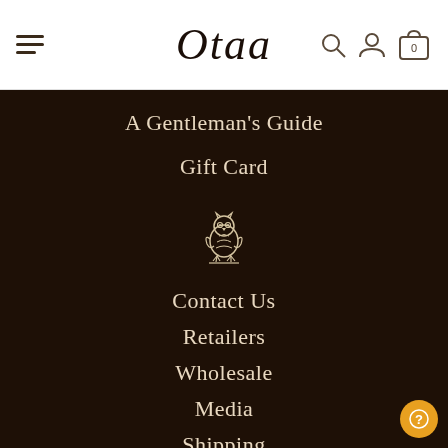[Figure (logo): Otaa brand logo in italic cursive script]
A Gentleman's Guide
Gift Card
[Figure (illustration): Small owl illustration in white outline on dark brown background]
Contact Us
Retailers
Wholesale
Media
Shipping
Returns
Cookie Policy